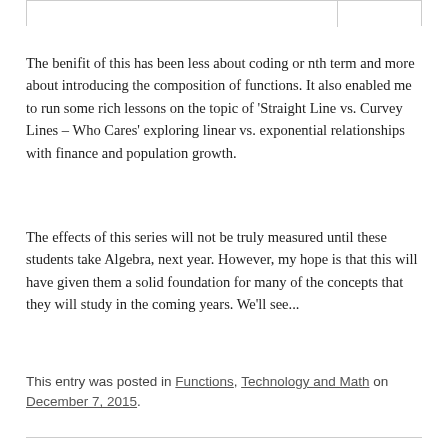The benifit of this has been less about coding or nth term and more about introducing the composition of functions. It also enabled me to run some rich lessons on the topic of ‘Straight Line vs. Curvey Lines – Who Cares’ exploring linear vs. exponential relationships with finance and population growth.
The effects of this series will not be truly measured until these students take Algebra, next year. However, my hope is that this will have given them a solid foundation for many of the concepts that they will study in the coming years. We’ll see...
This entry was posted in Functions, Technology and Math on December 7, 2015.